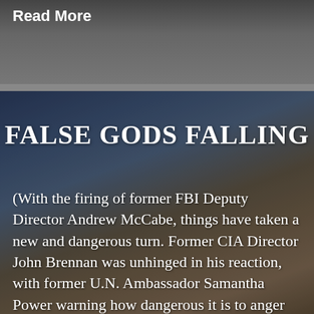Read More
[Figure (photo): Dark background with partially visible image, top section of a webpage]
FALSE GODS FALLING
(With the firing of former FBI Deputy Director Andrew McCabe, things have taken a new and dangerous turn. Former CIA Director John Brennan was unhinged in his reaction, with former U.N. Ambassador Samantha Power warning how dangerous it is to anger Brennan. Up until the firing came, McCabe seemed unworried about anything but losing his [...]